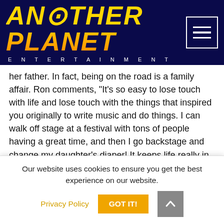[Figure (logo): Another Planet Entertainment logo on dark navy background with hamburger menu icon]
her father. In fact, being on the road is a family affair. Ron comments, “It’s so easy to lose touch with life and lose touch with the things that inspired you originally to write music and do things. I can walk off stage at a festival with tons of people having a great time, and then I go backstage and change my daughter’s diaper! It keeps life really in perspective of what’s important — I really enjoy this ... They really keep me grounded and keep my heart full.”
With 4 studio albums, 60+ songs, 1000s of flights, 100,000s diapers, and 15 countries, Ron and his family [full band included] continue to live by preparation and faith. Holding each day and person they meet as with immense privilege, not to be taken for granted, they look forward to meeting
Our website uses cookies to ensure you get the best experience on our website.
Privacy Policy
GOT IT!